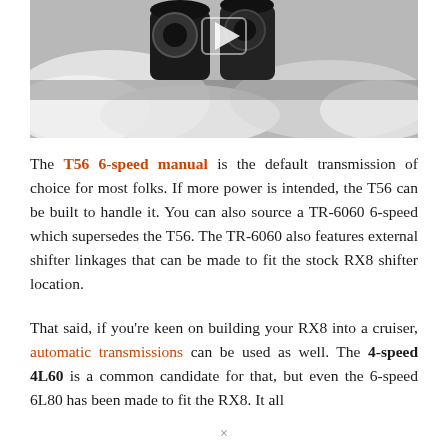[Figure (photo): Close-up photo of exhaust pipes emitting white smoke/steam from a vehicle, with a play button overlay indicating this is a video thumbnail]
The T56 6-speed manual is the default transmission of choice for most folks. If more power is intended, the T56 can be built to handle it. You can also source a TR-6060 6-speed which supersedes the T56. The TR-6060 also features external shifter linkages that can be made to fit the stock RX8 shifter location.
That said, if you're keen on building your RX8 into a cruiser, automatic transmissions can be used as well. The 4-speed 4L60 is a common candidate for that, but even the 6-speed 6L80 has been made to fit the RX8. It all
×